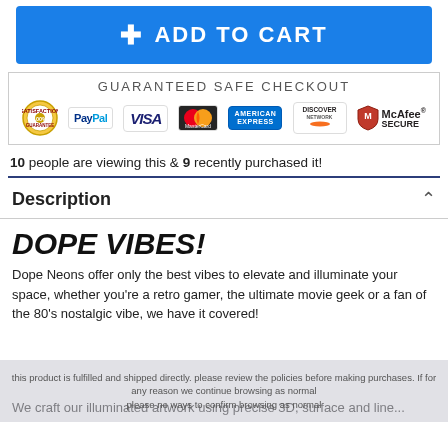[Figure (screenshot): Blue 'Add to Cart' button with white plus icon and bold uppercase text]
[Figure (screenshot): Guaranteed Safe Checkout badge with PayPal, Visa, Mastercard, American Express, Discover, and McAfee Secure logos]
10 people are viewing this & 9 recently purchased it!
Description
DOPE VIBES!
Dope Neons offer only the best vibes to elevate and illuminate your space, whether you're a retro gamer, the ultimate movie geek or a fan of the 80's nostalgic vibe, we have it covered!
We craft our illuminated artwork using precise 3D, surface and line...